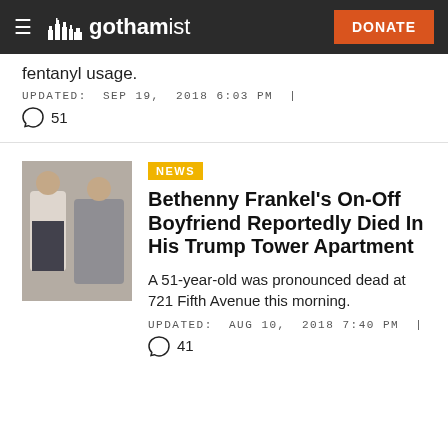gothamist — DONATE
fentanyl usage.
UPDATED: SEP 19, 2018 6:03 PM |
51
NEWS
Bethenny Frankel's On-Off Boyfriend Reportedly Died In His Trump Tower Apartment
A 51-year-old was pronounced dead at 721 Fifth Avenue this morning.
UPDATED: AUG 10, 2018 7:40 PM |
41